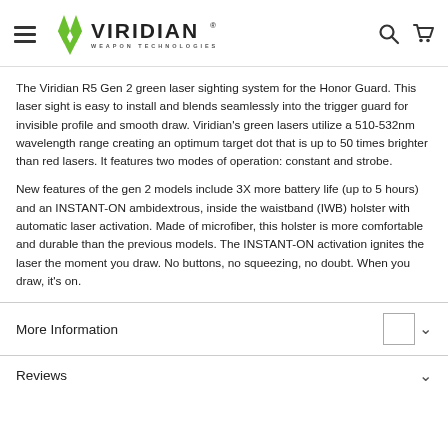VIRIDIAN WEAPON TECHNOLOGIES
The Viridian R5 Gen 2 green laser sighting system for the Honor Guard. This laser sight is easy to install and blends seamlessly into the trigger guard for invisible profile and smooth draw. Viridian's green lasers utilize a 510-532nm wavelength range creating an optimum target dot that is up to 50 times brighter than red lasers. It features two modes of operation: constant and strobe.
New features of the gen 2 models include 3X more battery life (up to 5 hours) and an INSTANT-ON ambidextrous, inside the waistband (IWB) holster with automatic laser activation. Made of microfiber, this holster is more comfortable and durable than the previous models. The INSTANT-ON activation ignites the laser the moment you draw. No buttons, no squeezing, no doubt. When you draw, it's on.
More Information
Reviews